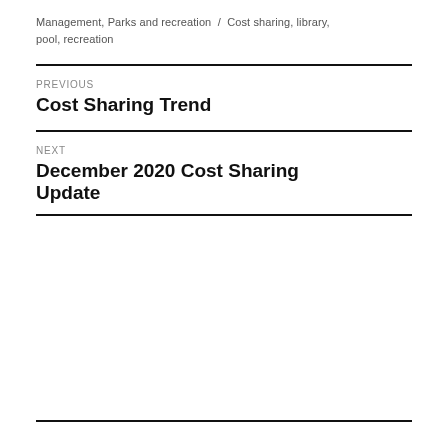Management, Parks and recreation / Cost sharing, library, pool, recreation
PREVIOUS
Cost Sharing Trend
NEXT
December 2020 Cost Sharing Update